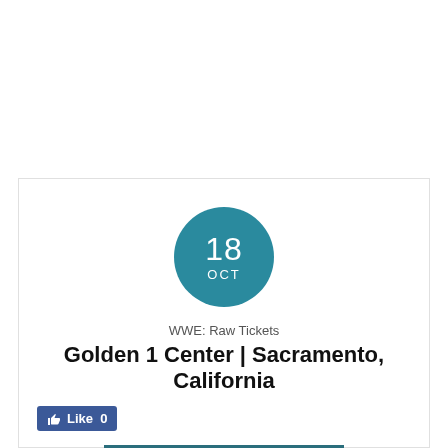[Figure (other): Teal circular date badge showing '18 OCT']
WWE: Raw Tickets
Golden 1 Center | Sacramento, California
[Figure (other): Facebook Like button with count 0]
GET TICKETS